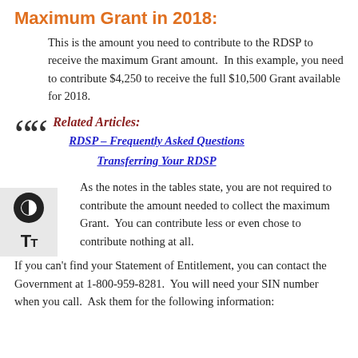Maximum Grant in 2018:
This is the amount you need to contribute to the RDSP to receive the maximum Grant amount. In this example, you need to contribute $4,250 to receive the full $10,500 Grant available for 2018.
Related Articles: RDSP – Frequently Asked Questions Transferring Your RDSP
As the notes in the tables state, you are not required to contribute the amount needed to collect the maximum Grant. You can contribute less or even chose to contribute nothing at all.
If you can't find your Statement of Entitlement, you can contact the Government at 1-800-959-8281. You will need your SIN number when you call. Ask them for the following information: